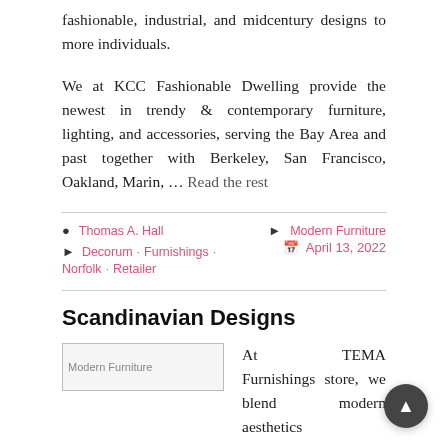fashionable, industrial, and midcentury designs to more individuals.
We at KCC Fashionable Dwelling provide the newest in trendy & contemporary furniture, lighting, and accessories, serving the Bay Area and past together with Berkeley, San Francisco, Oakland, Marin, … Read the rest
Thomas A. Hall | Decorum · Furnishings · Norfolk · Retailer | Modern Furniture | April 13, 2022
Scandinavian Designs
[Figure (photo): Modern Furniture placeholder image]
At TEMA Furnishings store, we blend modern aesthetics